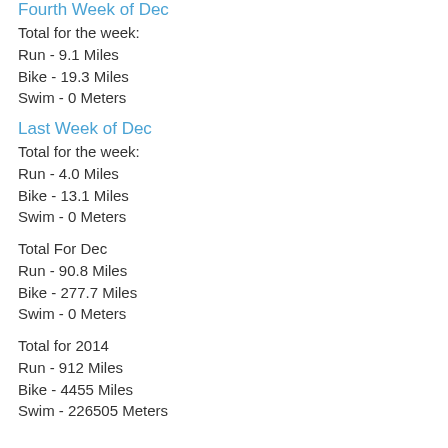Fourth Week of Dec
Total for the week:
Run - 9.1 Miles
Bike - 19.3 Miles
Swim - 0 Meters
Last Week of Dec
Total for the week:
Run - 4.0 Miles
Bike - 13.1 Miles
Swim - 0 Meters
Total For Dec
Run - 90.8 Miles
Bike - 277.7 Miles
Swim - 0 Meters
Total for 2014
Run - 912 Miles
Bike - 4455 Miles
Swim - 226505 Meters